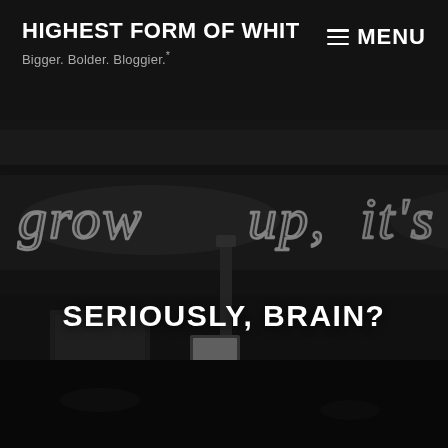HIGHEST FORM OF WHIT
Bigger. Bolder. Bloggier.*
MENU
[Figure (photo): Black and white nighttime photo of a storefront with neon cursive sign reading 'grow up, it's' visible in the background]
SERIOUSLY, BRAIN?